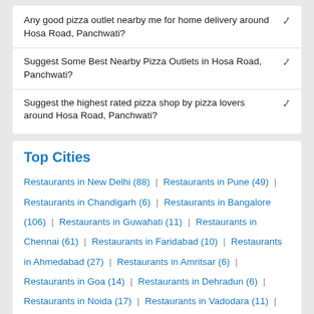Any good pizza outlet nearby me for home delivery around Hosa Road, Panchwati?
Suggest Some Best Nearby Pizza Outlets in Hosa Road, Panchwati?
Suggest the highest rated pizza shop by pizza lovers around Hosa Road, Panchwati?
Top Cities
Restaurants in New Delhi (88) | Restaurants in Pune (49) | Restaurants in Chandigarh (6) | Restaurants in Bangalore (106) | Restaurants in Guwahati (11) | Restaurants in Chennai (61) | Restaurants in Faridabad (10) | Restaurants in Ahmedabad (27) | Restaurants in Amritsar (6) | Restaurants in Goa (14) | Restaurants in Dehradun (6) | Restaurants in Noida (17) | Restaurants in Vadodara (11) | Restaurants in Ghaziabad (14) | Restaurants in Ludhiana (6)
Top Stores